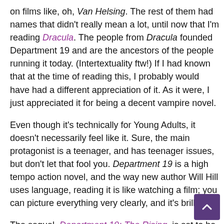on films like, oh, Van Helsing. The rest of them had names that didn't really mean a lot, until now that I'm reading Dracula. The people from Dracula founded Department 19 and are the ancestors of the people running it today. (Intertextuality ftw!) If I had known that at the time of reading this, I probably would have had a different appreciation of it. As it were, I just appreciated it for being a decent vampire novel.
Even though it's technically for Young Adults, it doesn't necessarily feel like it. Sure, the main protagonist is a teenager, and has teenager issues, but don't let that fool you. Department 19 is a high tempo action novel, and the way new author Will Hill uses language, reading it is like watching a film; you can picture everything very clearly, and it's brilliant.
The sequel, Department 19: The Rising, is set to be